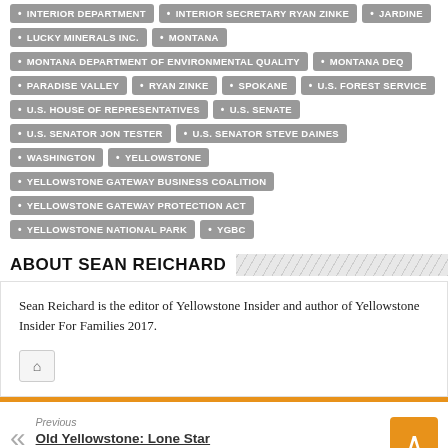INTERIOR DEPARTMENT
INTERIOR SECRETARY RYAN ZINKE
JARDINE
LUCKY MINERALS INC.
MONTANA
MONTANA DEPARTMENT OF ENVIRONMENTAL QUALITY
MONTANA DEQ
PARADISE VALLEY
RYAN ZINKE
SPOKANE
U.S. FOREST SERVICE
U.S. HOUSE OF REPRESENTATIVES
U.S. SENATE
U.S. SENATOR JON TESTER
U.S. SENATOR STEVE DAINES
WASHINGTON
YELLOWSTONE
YELLOWSTONE GATEWAY BUSINESS COALITION
YELLOWSTONE GATEWAY PROTECTION ACT
YELLOWSTONE NATIONAL PARK
YGBC
ABOUT SEAN REICHARD
Sean Reichard is the editor of Yellowstone Insider and author of Yellowstone Insider For Families 2017.
Previous
Old Yellowstone: Lone Star Geyser